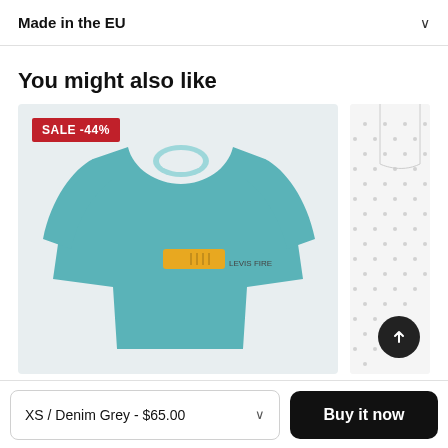Made in the EU
You might also like
[Figure (photo): Teal/blue long-sleeve sweatshirt with a yellow logo patch on the chest, displayed on a light grey background. A red SALE -44% badge is shown in the top-left corner of the product card.]
[Figure (photo): Partial view of a white/cream shirt with small dot pattern, partially cropped on the right side of the page.]
XS / Denim Grey - $65.00
Buy it now